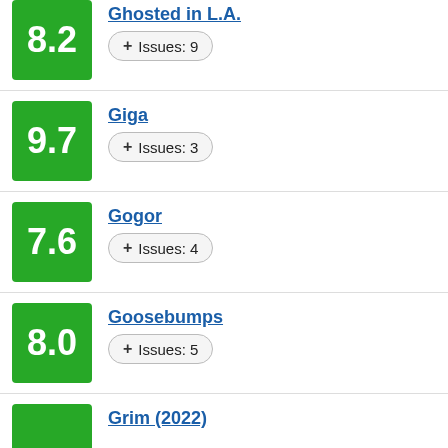Ghosted in L.A. — Score: 8.2, Issues: 9
Giga — Score: 9.7, Issues: 3
Gogor — Score: 7.6, Issues: 4
Goosebumps — Score: 8.0, Issues: 5
Grim (2022) — partial